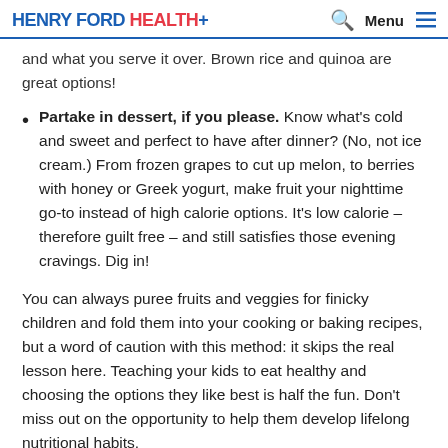HENRY FORD HEALTH+
and what you serve it over. Brown rice and quinoa are great options!
Partake in dessert, if you please. Know what's cold and sweet and perfect to have after dinner? (No, not ice cream.) From frozen grapes to cut up melon, to berries with honey or Greek yogurt, make fruit your nighttime go-to instead of high calorie options. It's low calorie – therefore guilt free – and still satisfies those evening cravings. Dig in!
You can always puree fruits and veggies for finicky children and fold them into your cooking or baking recipes, but a word of caution with this method: it skips the real lesson here. Teaching your kids to eat healthy and choosing the options they like best is half the fun. Don't miss out on the opportunity to help them develop lifelong nutritional habits.